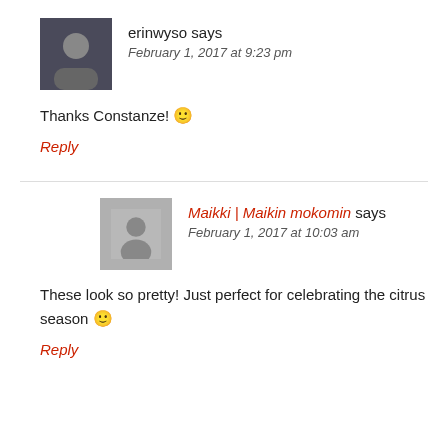erinwyso says
February 1, 2017 at 9:23 pm
Thanks Constanze! 🙂
Reply
Maikki | Maikin mokomin says
February 1, 2017 at 10:03 am
These look so pretty! Just perfect for celebrating the citrus season 🙂
Reply